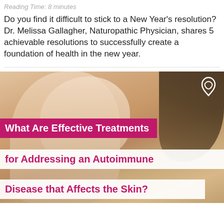Reading Time: 8 minutes
Do you find it difficult to stick to a New Year's resolution? Dr. Melissa Gallagher, Naturopathic Physician, shares 5 achievable resolutions to successfully create a foundation of health in the new year.
[Figure (photo): Close-up photo of a person's arm/elbow area with skin visible, woman with dark hair in background. Overlay text reads: 'What Are Effective Treatments for Addressing an Autoimmune Disease that Affects the Skin?' A small white logo appears in the top right corner of the image.]